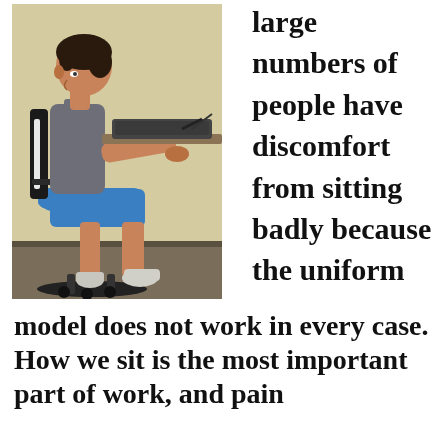[Figure (photo): A woman sitting on an ergonomic office chair at a desk, using a computer keyboard, viewed from the side. She is wearing a gray tank top and blue shorts with white sneakers. The chair is black with blue seat cushion.]
large numbers of people have discomfort from sitting badly because the uniform model does not work in every case. How we sit is the most important part of work, and pain
model does not work in every case. How we sit is the most important part of work, and pain